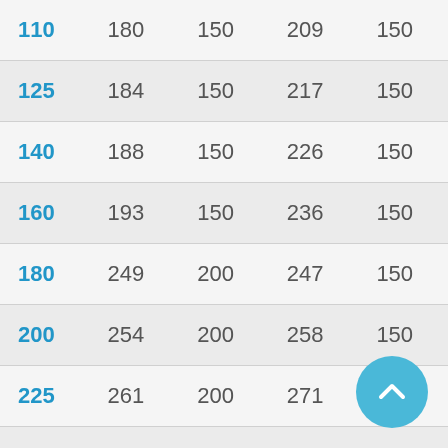| 110 | 180 | 150 | 209 | 150 |
| 125 | 184 | 150 | 217 | 150 |
| 140 | 188 | 150 | 226 | 150 |
| 160 | 193 | 150 | 236 | 150 |
| 180 | 249 | 200 | 247 | 150 |
| 200 | 254 | 200 | 258 | 150 |
| 225 | 261 | 200 | 271 | 150 |
| 250 | 267 | 200 | 284 | 150 |
| 280 | 276 | 200 | 301 | 150 |
| 315 | 384 | 300 | 368 | 200 |